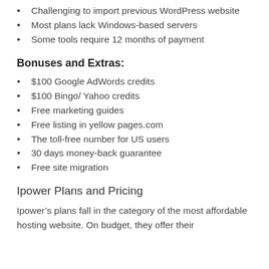Challenging to import previous WordPress website
Most plans lack Windows-based servers
Some tools require 12 months of payment
Bonuses and Extras:
$100 Google AdWords credits
$100 Bingo/ Yahoo credits
Free marketing guides
Free listing in yellow pages.com
The toll-free number for US users
30 days money-back guarantee
Free site migration
Ipower Plans and Pricing
Ipower’s plans fall in the category of the most affordable hosting website. On budget, they offer their